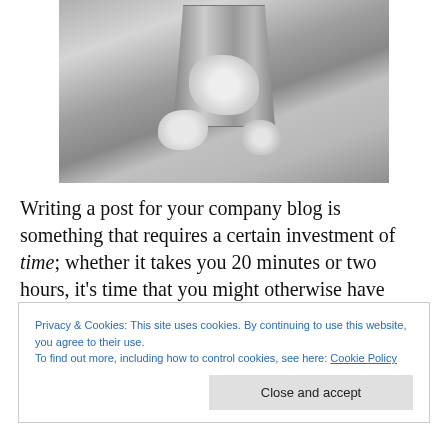[Figure (photo): Black and white photograph of a wire mesh trash can with crumpled paper balls inside and around it on a surface]
Writing a post for your company blog is something that requires a certain investment of time; whether it takes you 20 minutes or two hours, it's time that you might otherwise have spent doing something else, and as such you want to
Privacy & Cookies: This site uses cookies. By continuing to use this website, you agree to their use.
To find out more, including how to control cookies, see here: Cookie Policy
Close and accept